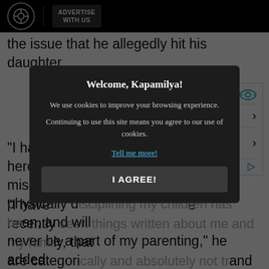[Figure (screenshot): Black top navigation bar with circular logo and 'ADVERTISE WITH US' button]
the issue that he allegedly hit his daughter.
[Figure (other): Ad widget: Search for - 01. Best Anti Wrinkle Creams, 02. Best Sweatpants Women Online Sale - Yahoo! Search | Sponsored]
“I have recently seen things written about me and my family, that are categorically and absolutely not true, and my energy anymors, with one very serious
“I have never active ends here. As a fa will be miscommu. But physically disciplining my children has been, and will never be a part of my parenting,” he added.
[Figure (screenshot): Cookie consent modal overlay: 'Welcome, Kapamilya!' with cookie policy text, 'Tell me more!' link and 'I AGREE!' button]